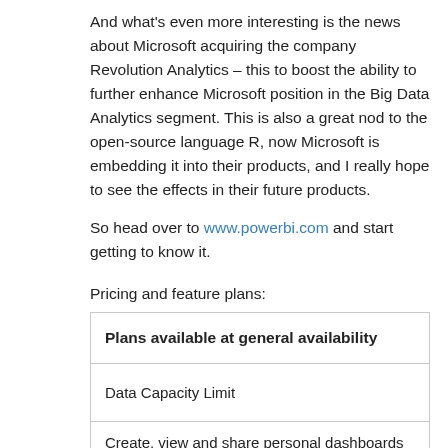And what's even more interesting is the news about Microsoft acquiring the company Revolution Analytics – this to boost the ability to further enhance Microsoft position in the Big Data Analytics segment. This is also a great nod to the open-source language R, now Microsoft is embedding it into their products, and I really hope to see the effects in their future products.
So head over to www.powerbi.com and start getting to know it.
Pricing and feature plans:
| Plans available at general availability |
| --- |
| Data Capacity Limit |
| Create, view and share personal dashboards and reports |
| Power BI Designer for content authoring |
| Explore data with natural language* |
| Power BI mobile apps for iOS and Windows |